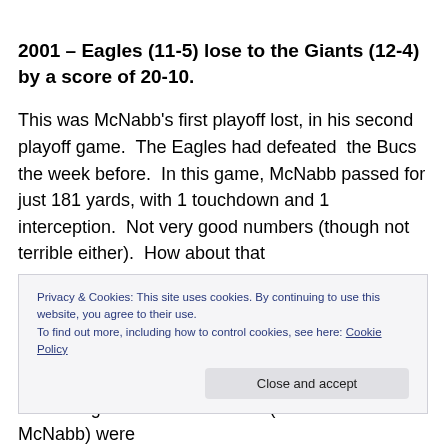2001 – Eagles (11-5) lose to the Giants (12-4) by a score of 20-10.
This was McNabb's first playoff lost, in his second playoff game.  The Eagles had defeated  the Bucs the week before.  In this game, McNabb passed for just 181 yards, with 1 touchdown and 1 interception.  Not very good numbers (though not terrible either).  How about that
Privacy & Cookies: This site uses cookies. By continuing to use this website, you agree to their use.
To find out more, including how to control cookies, see here: Cookie Policy
– The Eagles offensive leaders (other than McNabb) were